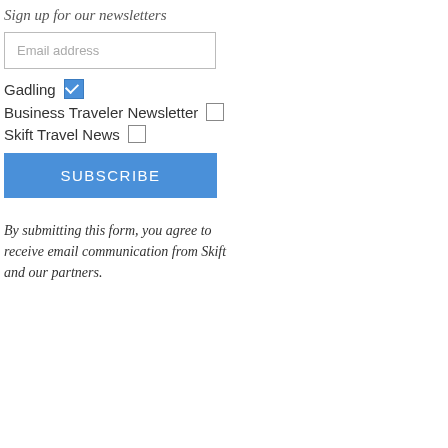Sign up for our newsletters
Email address
Gadling [checked]
Business Traveler Newsletter [unchecked]
Skift Travel News [unchecked]
SUBSCRIBE
By submitting this form, you agree to receive email communication from Skift and our partners.